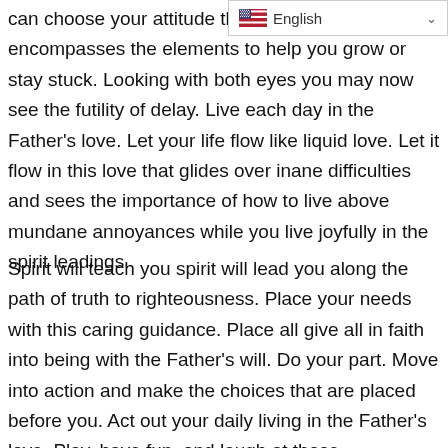the depths of despair or pity that... you can choose your attitude that attitude encompasses the elements to help you grow or stay stuck. Looking with both eyes you may now see the futility of delay. Live each day in the Father's love. Let your life flow like liquid love. Let it flow in this love that glides over inane difficulties and sees the importance of how to live above mundane annoyances while you live joyfully in the spirit leadings.
Spirit will teach you spirit will lead you along the path of truth to righteousness. Place your needs with this caring guidance. Place all give all in faith into being with the Father's will. Do your part. Move into action and make the choices that are placed before you. Act out your daily living in the Father's love. Play, have fun, and laugh at those annoyances. Put your energy...